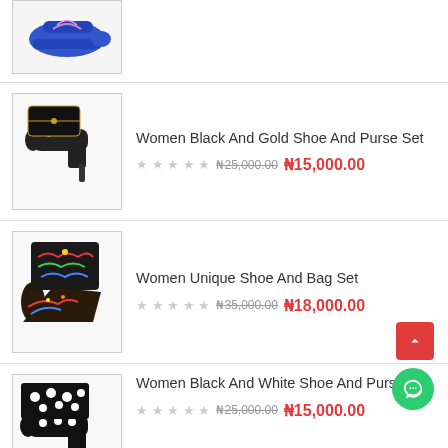[Figure (photo): Partial view of blue women's shoes at top of page]
Women Black And Gold Shoe And Purse Set
₦25,000.00 ₦15,000.00
[Figure (photo): Women black and gold shoe and purse set product image]
Women Unique Shoe And Bag Set
₦35,000.00 ₦18,000.00
[Figure (photo): Women unique shoe and bag set product image]
Women Black And White Shoe And Purse Set
₦25,000.00 ₦15,000.00
[Figure (photo): Women black and white shoe and purse set product image]